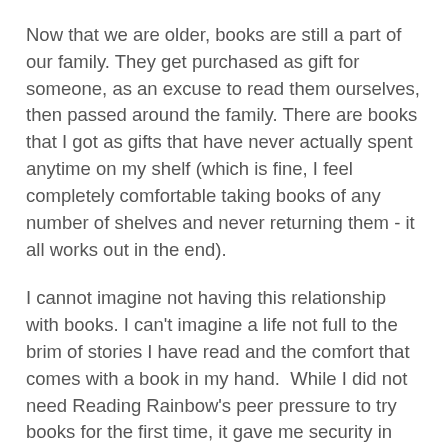Now that we are older, books are still a part of our family. They get purchased as gift for someone, as an excuse to read them ourselves, then passed around the family. There are books that I got as gifts that have never actually spent anytime on my shelf (which is fine, I feel completely comfortable taking books of any number of shelves and never returning them - it all works out in the end).
I cannot imagine not having this relationship with books. I can't imagine a life not full to the brim of stories I have read and the comfort that comes with a book in my hand.  While I did not need Reading Rainbow's peer pressure to try books for the first time, it gave me security in knowing that this love I had for books was a great thing.  And I watched it joyously, just as I watched Seaseme Street, 3, 2, 1 Contact, and Ghostwriter (PBS did a damn good job raising kids in the 80's and early 90's. Thanks guys). I know there are kids out there who discovered reading through the show and for that I think the world is a much better place.
I am tickled pink that the Reading Rainbow Kickstarter has